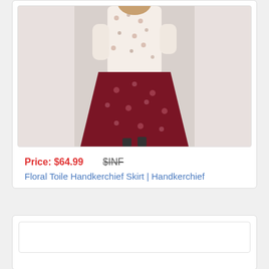[Figure (photo): Product photo of a woman wearing a Floral Toile Handkerchief Skirt — cream floral patterned top half and deep burgundy/red floral handkerchief-hem skirt]
Price: $64.99   $INF
Floral Toile Handkerchief Skirt | Handkerchief
[Figure (other): Empty product card placeholder for next product listing]